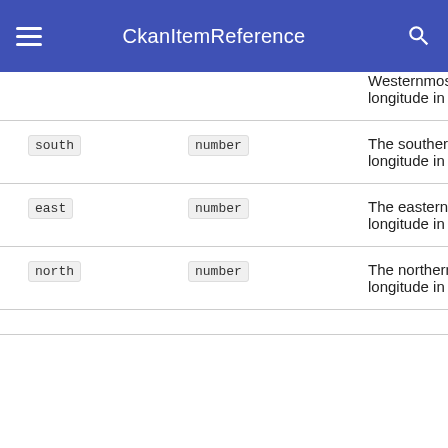CkanItemReference
| Field | Type | Description |
| --- | --- | --- |
|  |  | Westernmost longitude in degrees. |
| south | number | The southernmost longitude in degrees. |
| east | number | The easternmost longitude in degrees. |
| north | number | The northernmost longitude in degrees. |
|  |  |  |